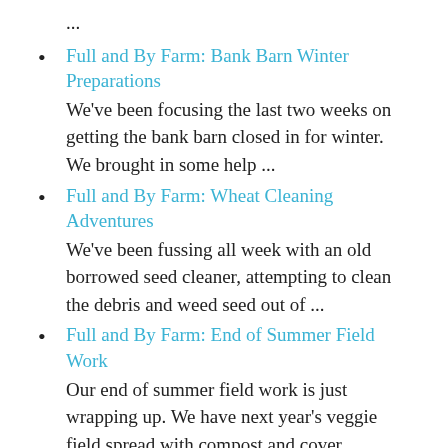...
Full and By Farm: Bank Barn Winter Preparations
We've been focusing the last two weeks on getting the bank barn closed in for winter. We brought in some help ...
Full and By Farm: Wheat Cleaning Adventures
We've been fussing all week with an old borrowed seed cleaner, attempting to clean the debris and weed seed out of ...
Full and By Farm: End of Summer Field Work
Our end of summer field work is just wrapping up. We have next year's veggie field spread with compost and cover ...
Full and By Farm: [partial, cut off]